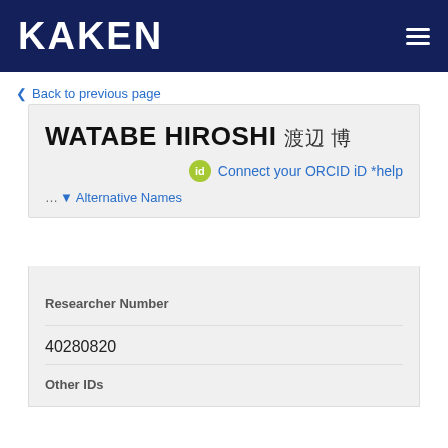KAKEN
Back to previous page
WATABE HIROSHI 渡辺 博
Connect your ORCID iD *help
... Alternative Names
| Researcher Number |
| --- |
| 40280820 |
| Other IDs |
| --- |
|  |